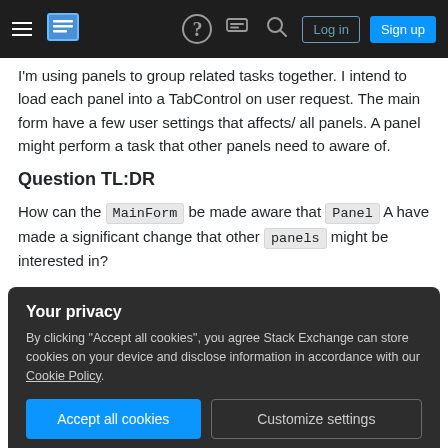Stack Exchange navigation bar with hamburger menu, logo, help, chat, search icons, Log in and Sign up buttons
I'm using panels to group related tasks together. I intend to load each panel into a TabControl on user request. The main form have a few user settings that affects/ all panels. A panel might perform a task that other panels need to aware of.
Question TL:DR
How can the MainForm be made aware that Panel A have made a significant change that other panels might be interested in?
Your privacy
By clicking "Accept all cookies", you agree Stack Exchange can store cookies on your device and disclose information in accordance with our Cookie Policy.
Accept all cookies   Customize settings
UsersUpdatedEvent ) But how to do the other way